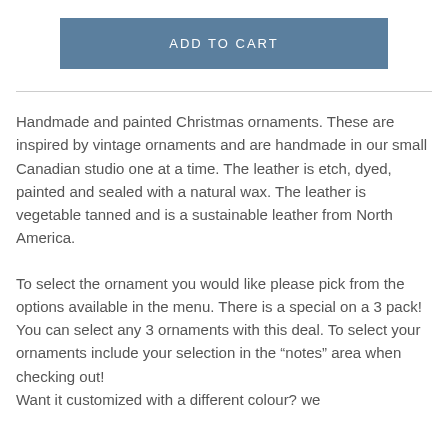ADD TO CART
Handmade and painted Christmas ornaments. These are inspired by vintage ornaments and are handmade in our small Canadian studio one at a time. The leather is etch, dyed, painted and sealed with a natural wax. The leather is vegetable tanned and is a sustainable leather from North America.
To select the ornament you would like please pick from the options available in the menu. There is a special on a 3 pack! You can select any 3 ornaments with this deal. To select your ornaments include your selection in the “notes” area when checking out!
Want it customized with a different colour? we